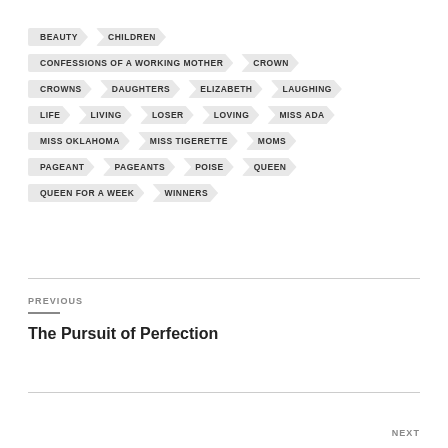BEAUTY
CHILDREN
CONFESSIONS OF A WORKING MOTHER
CROWN
CROWNS
DAUGHTERS
ELIZABETH
LAUGHING
LIFE
LIVING
LOSER
LOVING
MISS ADA
MISS OKLAHOMA
MISS TIGERETTE
MOMS
PAGEANT
PAGEANTS
POISE
QUEEN
QUEEN FOR A WEEK
WINNERS
PREVIOUS
The Pursuit of Perfection
NEXT